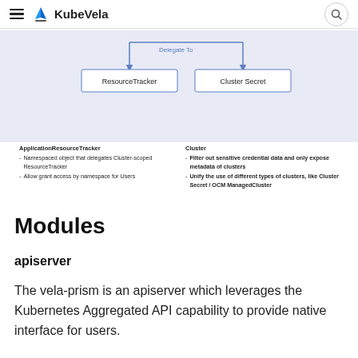KubeVela
[Figure (engineering-diagram): Diagram showing ResourceTracker and Cluster Secret boxes connected by 'Delegate To' arrows from above. Below shows two annotation columns: ApplicationResourceTracker (Namespaced object that delegates Cluster-scoped ResourceTracker; Allow grant access by namespace for Users) and Cluster (Filter out sensitive credential data and only expose metadata of clusters; Unify the use of different types of clusters, like Cluster Secret / OCM ManagedCluster).]
Modules
apiserver
The vela-prism is an apiserver which leverages the Kubernetes Aggregated API capability to provide native interface for users.